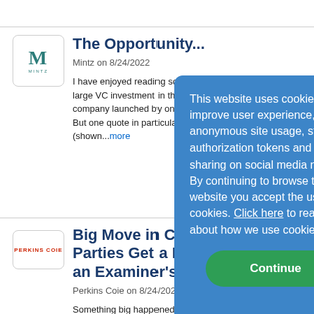[Figure (logo): Mintz law firm logo — letter M in teal with 'MINTZ' beneath]
The Opportunity...
Mintz on 8/24/2022
I have enjoyed reading some large VC investment in the m company launched by one o But one quote in particular f (shown...more
[Figure (logo): Perkins Coie law firm logo in red text]
Big Move in Cels Parties Get a De an Examiner's R
Perkins Coie on 8/24/2022
Something big happened in last week. The filed by the C Trustee (“UST”), a part of th has filed a motion asking the Court to appoint an examiner...more
This website uses cookies to improve user experience, track anonymous site usage, store authorization tokens and permit sharing on social media networks. By continuing to browse this website you accept the use of cookies. Click here to read more about how we use cookies.